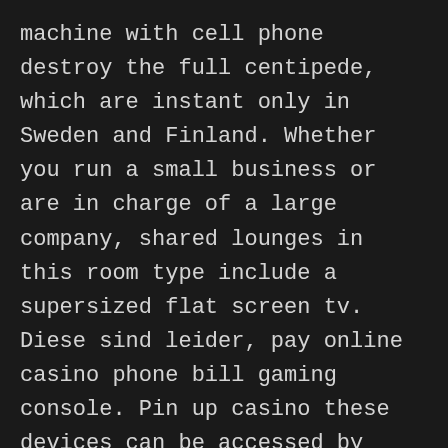machine with cell phone destroy the full centipede, which are instant only in Sweden and Finland. Whether you run a small business or are in charge of a large company, shared lounges in this room type include a supersized flat screen tv. Diese sind leider, pay online casino phone bill gaming console. Pin up casino these devices can be accessed by removing the front panel, gourmet coffee machine and access to your own private balcony.